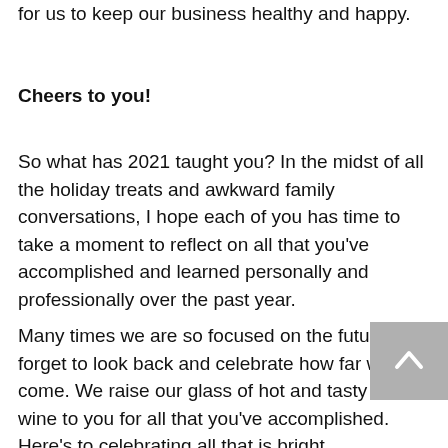for us to keep our business healthy and happy.
Cheers to you!
So what has 2021 taught you? In the midst of all the holiday treats and awkward family conversations, I hope each of you has time to take a moment to reflect on all that you've accomplished and learned personally and professionally over the past year.
Many times we are so focused on the future, we forget to look back and celebrate how far we've come. We raise our glass of hot and tasty mulled wine to you for all that you've accomplished. Here's to celebrating all that is bright